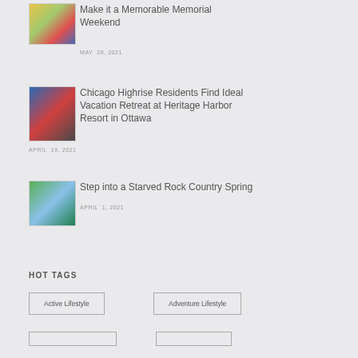[Figure (photo): Thumbnail image for Memorial Weekend article]
Make it a Memorable Memorial Weekend
MAY  28, 2021
[Figure (photo): Thumbnail image of couple at Chicago Highrise Heritage Harbor Resort]
Chicago Highrise Residents Find Ideal Vacation Retreat at Heritage Harbor Resort in Ottawa
APRIL  19, 2021
[Figure (photo): Thumbnail image for Starved Rock Country Spring article]
Step into a Starved Rock Country Spring
APRIL  1, 2021
HOT TAGS
Active Lifestyle
Adventure Lifestyle